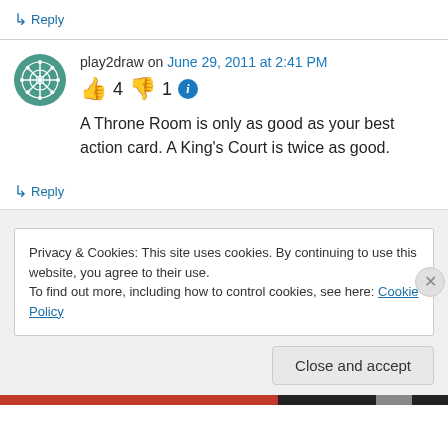↳ Reply
play2draw on June 29, 2011 at 2:41 PM
👍 4 👎 1 ℹ
A Throne Room is only as good as your best action card. A King's Court is twice as good.
↳ Reply
Privacy & Cookies: This site uses cookies. By continuing to use this website, you agree to their use.
To find out more, including how to control cookies, see here: Cookie Policy
Close and accept